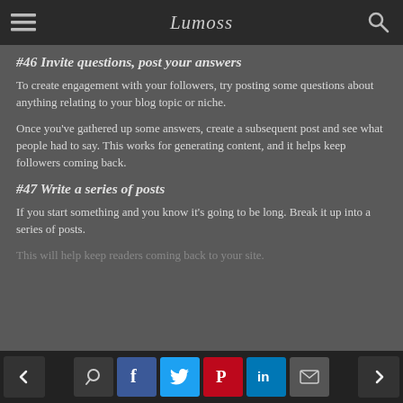Lumoss [logo/nav bar]
#46 Invite questions, post your answers
To create engagement with your followers, try posting some questions about anything relating to your blog topic or niche.
Once you've gathered up some answers, create a subsequent post and see what people had to say. This works for generating content, and it helps keep followers coming back.
#47 Write a series of posts
If you start something and you know it's going to be long. Break it up into a series of posts.
This will help keep readers...
Share bar with navigation, comment, facebook, twitter, pinterest, linkedin, email buttons